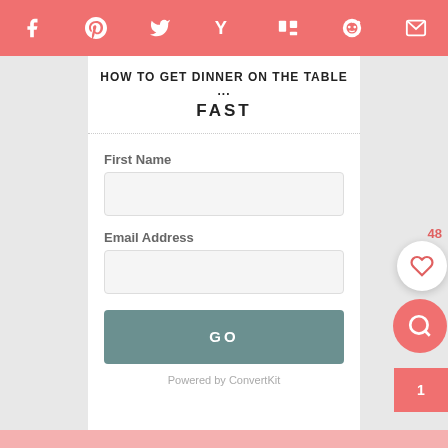Social sharing bar with icons: Facebook, Pinterest, Twitter, Yummly, Mix, Reddit, Email
HOW TO GET DINNER ON THE TABLE ... FAST
First Name
Email Address
GO
Powered by ConvertKit
48